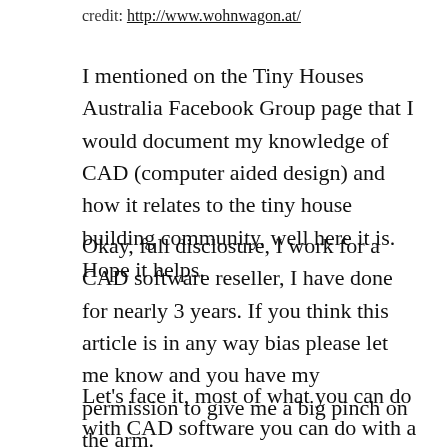credit: http://www.wohnwagon.at/
I mentioned on the Tiny Houses Australia Facebook Group page that I would document my knowledge of CAD (computer aided design) and how it relates to the tiny house building community, well here it is. Hope it helps.
Okay, full disclosure, I work for a CAD software reseller, I have done for nearly 3 years. If you think this article is in any way bias please let me know and you have my permission to give me a big pinch on the arm.
Let's face it, most of what you can do with CAD software you can do with a pencil and a ruler and for many centuries before that people just made